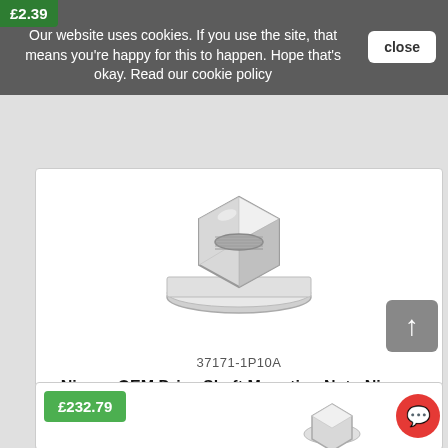£2.39
Our website uses cookies. If you use the site, that means you're happy for this to happen. Hope that's okay. Read our cookie policy
[Figure (photo): Photo of a silver flanged hex nut (Nissan OEM Drive Shaft Mounting Nut)]
37171-1P10A
Nissan OEM Drive Shaft Mounting Nut - Nissan Skyline R32 R33 R34 GT-R R32 GTS4
ADD TO CART
£232.79